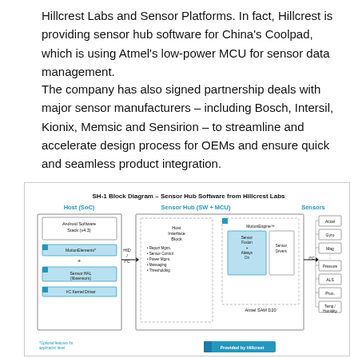Hillcrest Labs and Sensor Platforms. In fact, Hillcrest is providing sensor hub software for China's Coolpad, which is using Atmel's low-power MCU for sensor data management.
The company has also signed partnership deals with major sensor manufacturers – including Bosch, Intersil, Kionix, Memsic and Sensirion – to streamline and accelerate design process for OEMs and ensure quick and seamless product integration.
[Figure (schematic): SH-1 Block Diagram – Sensor Hub Software from Hillcrest Labs. Shows three sections: Host (SoC) containing Android Software Stack (v4.3), MotionElements*, and Sensor HAL (libsensors), I2C Kernel Driver; connected via HID/I2C to Sensor Hub (SW + MCU) containing Host Interface Block with Report Mgmt, Sensor Control, Power Mgmt, Messaging, Thresholding, and MotionEngine with Sensor Fusion + Always On and Sensor Drivers, running on Atmel SAM D20; connected via I2C to Sensors: Accel, Gyro, Mag, Pressure, ALS, Prox, Temp/Humidity. Provided by Hillcrest badge shown.]